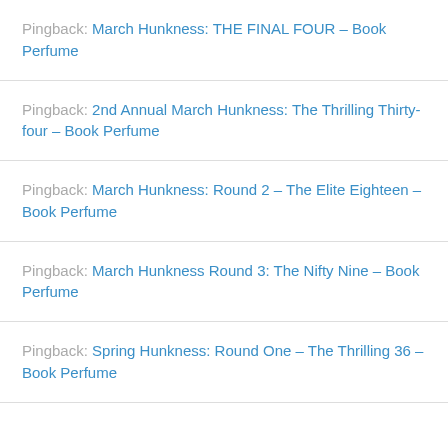Pingback: March Hunkness: THE FINAL FOUR – Book Perfume
Pingback: 2nd Annual March Hunkness: The Thrilling Thirty-four – Book Perfume
Pingback: March Hunkness: Round 2 – The Elite Eighteen – Book Perfume
Pingback: March Hunkness Round 3: The Nifty Nine – Book Perfume
Pingback: Spring Hunkness: Round One – The Thrilling 36 – Book Perfume